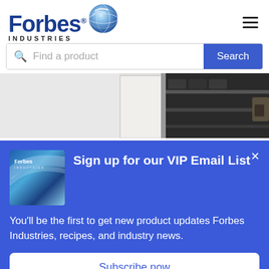[Figure (logo): Forbes Industries logo with globe icon]
Find a product
[Figure (photo): Cabinet or storage unit with open door showing shelves interior, metallic hardware visible]
[Figure (illustration): Forbes Industries catalog thumbnail image in blue tones]
Sign up for our VIP Email List
You'll be the first to get new product updates Forbes Industries, recipes, and industry news.
Subscribe now